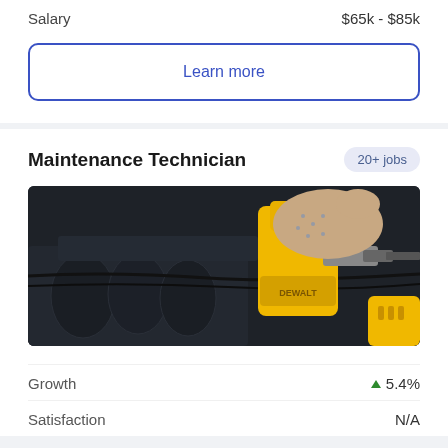Salary    $65k - $85k
Learn more
Maintenance Technician
20+ jobs
[Figure (photo): A gloved hand holding a yellow power drill working on a dark engine, with intake manifold visible.]
Growth   ▲ 5.4%
Satisfaction   N/A